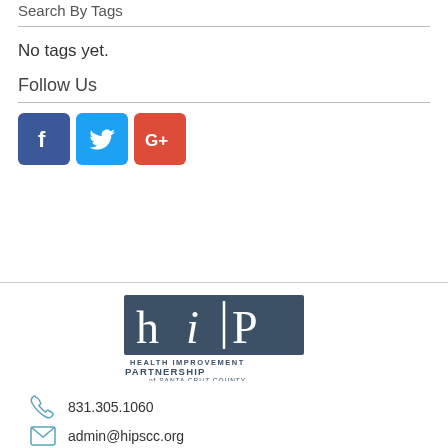Search By Tags
No tags yet.
Follow Us
[Figure (illustration): Social media buttons: Facebook (blue), Twitter (light blue), Google+ (red)]
[Figure (logo): Health Improvement Partnership of Santa Cruz County (hiP) logo]
831.305.1060
admin@hipscc.org
343 Soquel Avenue #343, Santa Cruz, CA 95062
(mailing only)